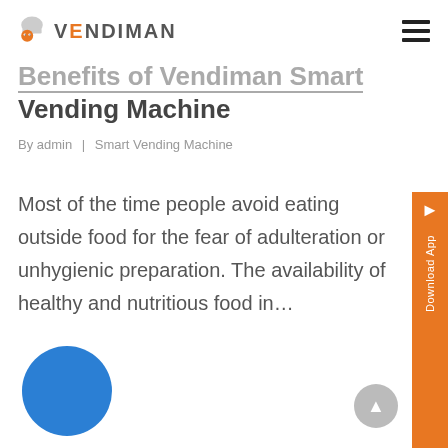VENDIMAN
Benefits of Vendiman Smart Vending Machine
By admin | Smart Vending Machine
Most of the time people avoid eating outside food for the fear of adulteration or unhygienic preparation. The availability of healthy and nutritious food in...